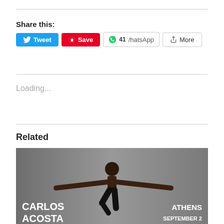Share this:
Tweet  Save  41 WhatsApp  More
Loading...
Related
[Figure (photo): Carlos Acosta ballet dancer promo poster — dancer mid-air with arms outstretched, text reads CARLOS ACOSTA / ATHENS / SEPTEMBER 2]